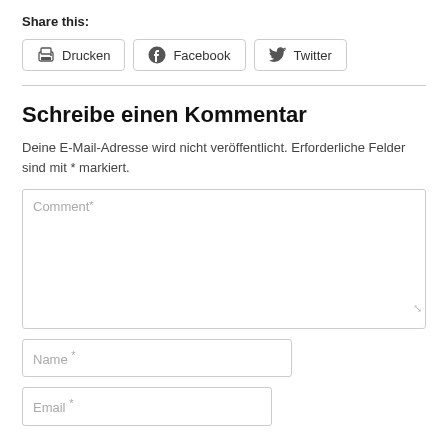Share this:
[Figure (other): Share buttons: Drucken (print icon), Facebook (Facebook icon), Twitter (Twitter bird icon)]
Schreibe einen Kommentar
Deine E-Mail-Adresse wird nicht veröffentlicht. Erforderliche Felder sind mit * markiert.
Comment *
Name *
Email *